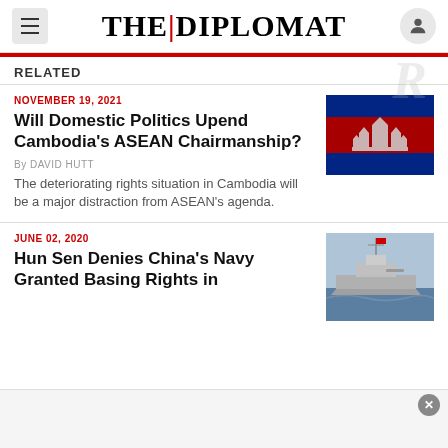THE | DIPLOMAT
RELATED
NOVEMBER 19, 2021
Will Domestic Politics Upend Cambodia's ASEAN Chairmanship?
By DAVID HUTT
The deteriorating rights situation in Cambodia will be a major distraction from ASEAN's agenda.
[Figure (photo): Cambodian flag image]
JUNE 02, 2020
Hun Sen Denies China's Navy Granted Basing Rights in Cambodia
[Figure (photo): Chinese naval ship at sea]